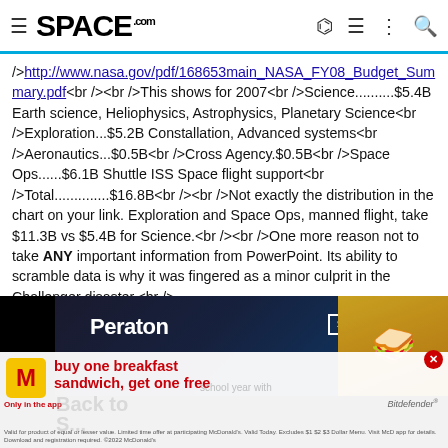SPACE.com
/>http://www.nasa.gov/pdf/168653main_NASA_FY08_Budget_Summary.pdf<br /><br />This shows for 2007<br />Science..........$5.4B Earth science, Heliophysics, Astrophysics, Planetary Science<br />Exploration...$5.2B Constallation, Advanced systems<br />Aeronautics...$0.5B<br />Cross Agency.$0.5B<br />Space Ops......$6.1B Shuttle ISS Space flight support<br />Total..............$16.8B<br /><br />Not exactly the distribution in the chart on your link. Exploration and Space Ops, manned flight, take $11.3B vs $5.4B for Science.<br /><br />One more reason not to take ANY important information from PowerPoint. Its ability to scramble data is why it was fingered as a minor culprit in the Challenger disaster.<br />
[Figure (advertisement): McDonald's and Peraton advertisement overlay. McDonald's: buy one breakfast sandwich, get one free. Only in the app. Peraton logo and background visible. Bitdefender branding in corner. Close button visible.]